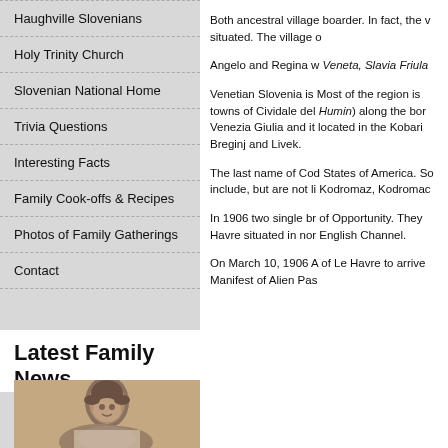Haughville Slovenians
Holy Trinity Church
Slovenian National Home
Trivia Questions
Interesting Facts
Family Cook-offs & Recipes
Photos of Family Gatherings
Contact
Latest Family News
[Figure (photo): Sepia-toned vintage photograph of a person, head and upper shoulders visible]
Both ancestral village boarder. In fact, the v situated. The village o
Angelo and Regina w Veneta, Slavia Friula
Venetian Slovenia is Most of the region is towns of Cividale del Humin) along the bor Venezia Giulia and it located in the Kobari Breginj and Livek.
The last name of Cod States of America. So include, but are not li Kodromaz, Kodromac
In 1906 two single br of Opportunity. They Havre situated in nor English Channel.
On March 10, 1906 A of Le Havre to arrive Manifest of Alien Pas